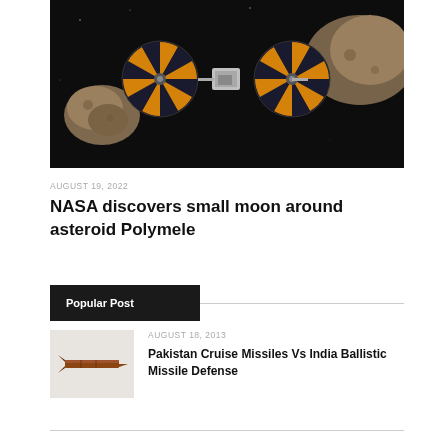[Figure (photo): Space scene with spacecraft featuring large circular solar panels with orange and dark radial patterns, approaching rocky asteroids against a dark background]
AUGUST 19, 2022
NASA discovers small moon around asteroid Polymele
Popular Post
[Figure (photo): Small thumbnail image showing a missile or projectile on a light background]
AUGUST 18, 2013
Pakistan Cruise Missiles Vs India Ballistic Missile Defense